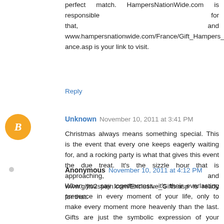perfect match. HampersNationWide.com is responsible for that, and www.hampersnationwide.com/France/Gift_Hampers_to_France.asp is your link to visit.
Reply
Unknown  November 10, 2011 at 3:41 PM
Christmas always means something special. This is the event that every one keeps eagerly waiting for, and a rocking party is what that gives this event the due treat. It's the sizzle hour that is approaching, and www.gifts2spain.com/Exclusive_Gifts.asp is ready for that.
Reply
Anonymous  November 10, 2011 at 4:12 PM
When you say togetherness, it's their everlasting presence in every moment of your life, only to make every moment more heavenly than the last. Gifts are just the symbolic expression of your cherished terms with your loved terms.